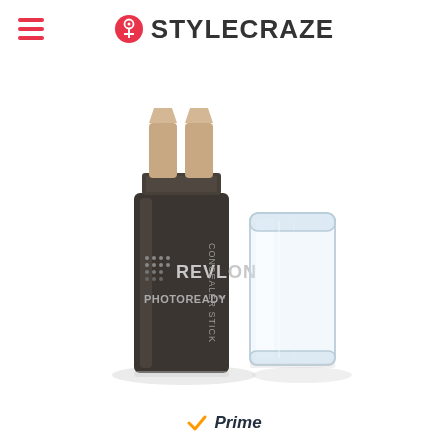STYLECRAZE
[Figure (photo): Revlon PhotoReady concealer stick shown open (with nude-beige concealer exposed at top) next to its clear plastic cap, on a white background]
Prime